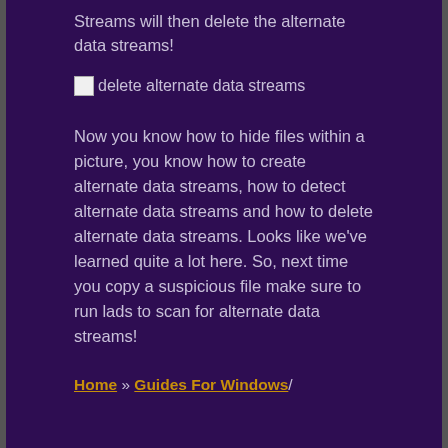Streams will then delete the alternate data streams!
[Figure (screenshot): Broken image placeholder with alt text 'delete alternate data streams']
Now you know how to hide files within a picture, you know how to create alternate data streams, how to detect alternate data streams and how to delete alternate data streams. Looks like we've learned quite a lot here. So, next time you copy a suspicious file make sure to run lads to scan for alternate data streams!
Home » Guides For Windows /